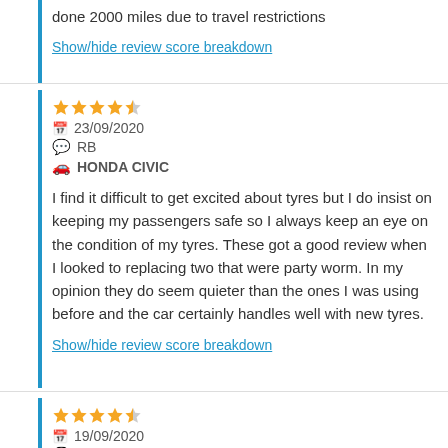done 2000 miles due to travel restrictions
Show/hide review score breakdown
★★★★½ 23/09/2020 RB HONDA CIVIC
I find it difficult to get excited about tyres but I do insist on keeping my passengers safe so I always keep an eye on the condition of my tyres. These got a good review when I looked to replacing two that were party worm. In my opinion they do seem quieter than the ones I was using before and the car certainly handles well with new tyres.
Show/hide review score breakdown
★★★★½ 19/09/2020 TY